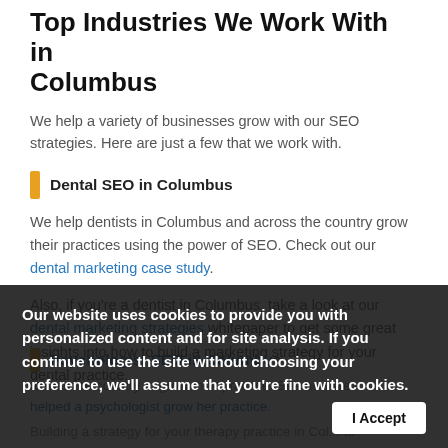Top Industries We Work With in Columbus
We help a variety of businesses grow with our SEO strategies. Here are just a few that we work with.
Dental SEO in Columbus
We help dentists in Columbus and across the country grow their practices using the power of SEO. Check out our dental marketing case study.
Also, if you're a dentist in Columbus, take a look at our dental marketing strategies whitepaper to get some great insights into how to build a marketing strategy for your dental practice.
Psychologist SEO in Columbus
Our website uses cookies to provide you with personalized content and for site analysis. If you continue to use the site without choosing your preference, we'll assume that you're fine with cookies.